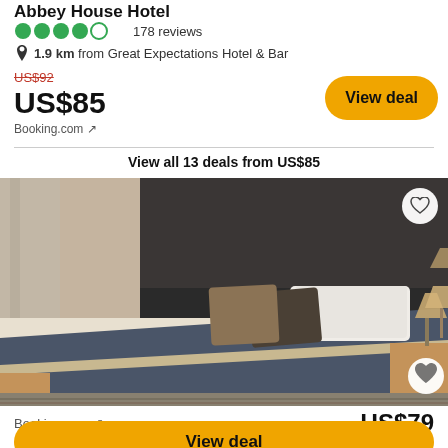Abbey House Hotel
178 reviews
1.9 km from Great Expectations Hotel & Bar
US$92 (strikethrough), US$85, Booking.com
View deal
View all 13 deals from US$85
[Figure (photo): Hotel room with a double bed featuring a dark navy bedspread, decorative pillows, a dark headboard, and a bedside lamp in a warm-toned room]
Booking.com, US$84 (strikethrough), US$79
View deal